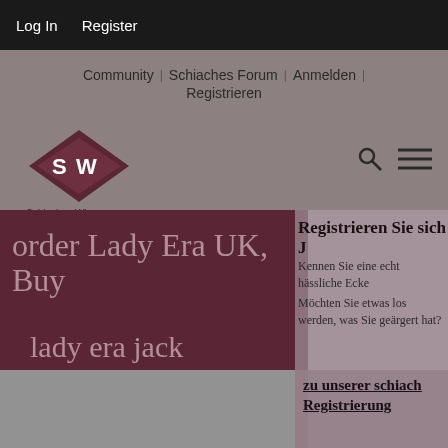Log In   Register
Community | Schiaches Forum | Anmelden | Registrieren
[Figure (logo): SW diamond logo for Schiaches Wien website]
Schiaches Wien
order Lady Era UK, Buy
lady era jack
Registrieren Sie sich J
Kennen Sie eine echt hässliche Ecke
Möchten Sie etwas los werden, was Sie geärgert hat?
zu unserer schiach
Registrierung